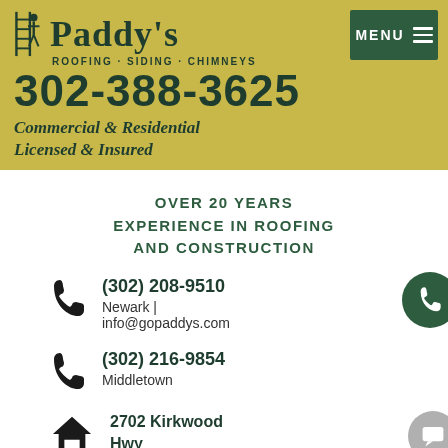[Figure (logo): Paddy's Roofing Siding Chimneys logo with figure on ladder, phone number 302-388-3625, tagline Commercial & Residential Licensed & Insured, and MENU button]
OVER 20 YEARS EXPERIENCE IN ROOFING AND CONSTRUCTION
(302) 208-9510
Newark | info@gopaddys.com
(302) 216-9854
Middletown
2702 Kirkwood Hwy Newark, DE 19711